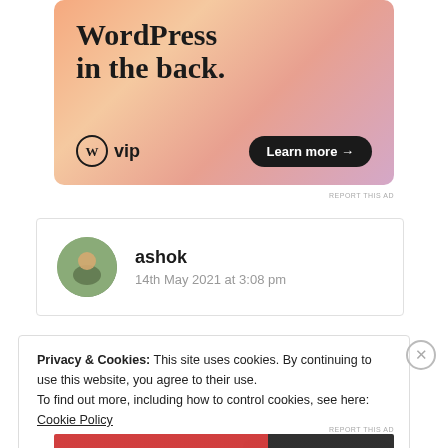[Figure (illustration): WordPress VIP advertisement banner with orange/peach gradient background. Large bold text reads 'WordPress in the back.' with WordPress VIP logo and 'Learn more →' button.]
REPORT THIS AD
ashok
14th May 2021 at 3:08 pm
Privacy & Cookies: This site uses cookies. By continuing to use this website, you agree to their use.
To find out more, including how to control cookies, see here: Cookie Policy
Close and accept